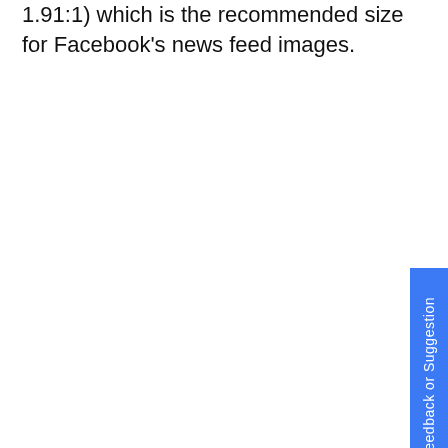1.91:1) which is the recommended size for Facebook's news feed images.